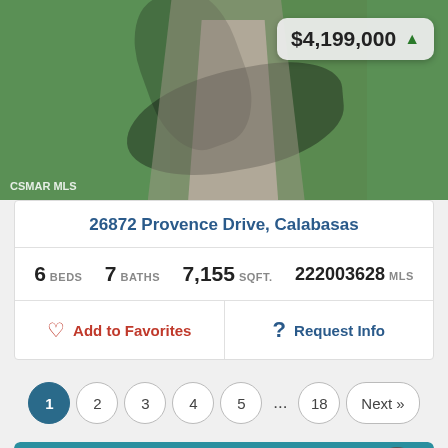[Figure (photo): Aerial or elevated photo of a property driveway with palm tree shadow on a stone/concrete path surrounded by green grass. Price badge showing $4,199,000 with green up arrow in top right corner. CSMAR MLS watermark in bottom left.]
26872 Provence Drive, Calabasas
| 6 BEDS | 7 BATHS | 7,155 SQFT. | 222003628 MLS |
Add to Favorites
Request Info
1 2 3 4 5 ... 18 Next »
Additional Navigation